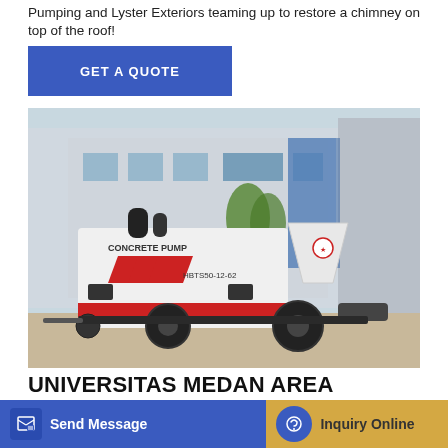Pumping and Lyster Exteriors teaming up to restore a chimney on top of the roof!
GET A QUOTE
[Figure (photo): A white concrete pump machine labeled 'CONCRETE PUMP HBTS50-12-62' with red chevron markings, on a trailer with large wheels, parked in front of an industrial building.]
UNIVERSITAS MEDAN AREA
J. Tower Crane K. Concrete Pump L. Concrete Bucket. M. Las
Send Message
Inquiry Online